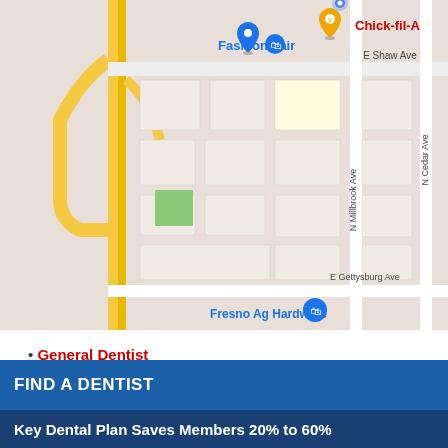[Figure (map): Google Maps screenshot showing area near Fashion Fair and Chick-fil-A in Fresno, CA. Shows E Shaw Ave, N Millbrook Ave, N Cedar Ave, E Gettysburg Ave, and Fresno Ag Hardware. Includes 'View Larger Map' link in red.]
General Dentist
5690 N FRESNO ST STE 101
FRESNO, CA 93710
559-436-3470
FIND A DENTIST
Key Dental Plan Saves Members 20% to 60%